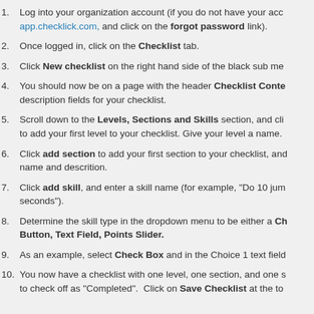Log into your organization account (if you do not have your account credentials, go to app.checklick.com, and click on the forgot password link).
Once logged in, click on the Checklist tab.
Click New checklist on the right hand side of the black sub me...
You should now be on a page with the header Checklist Conte... description fields for your checklist.
Scroll down to the Levels, Sections and Skills section, and cli... to add your first level to your checklist. Give your level a name.
Click add section to add your first section to your checklist, and... name and descrition.
Click add skill, and enter a skill name (for example, "Do 10 jum... seconds").
Determine the skill type in the dropdown menu to be either a Ch... Button, Text Field, Points Slider.
As an example, select Check Box and in the Choice 1 text field...
You now have a checklist with one level, one section, and one s... to check off as "Completed". Click on Save Checklist at the to...